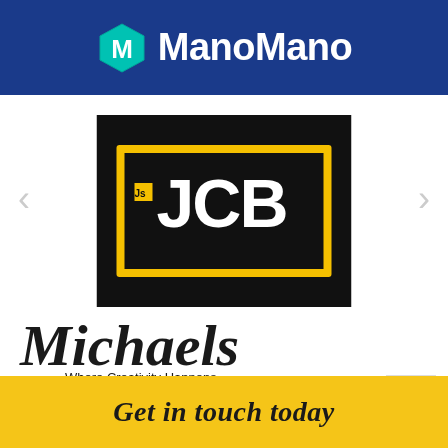[Figure (logo): ManoMano logo on dark blue background with teal hexagonal M icon and white bold text 'ManoMano']
[Figure (logo): JCB logo on black background with yellow rectangular border, bold white letters 'JCB' and small trademark box]
[Figure (logo): Michaels script logo in black cursive/handwritten font with tagline 'Where Creativity Happens']
[Figure (logo): Get in touch today text on yellow/golden background in italic script font]